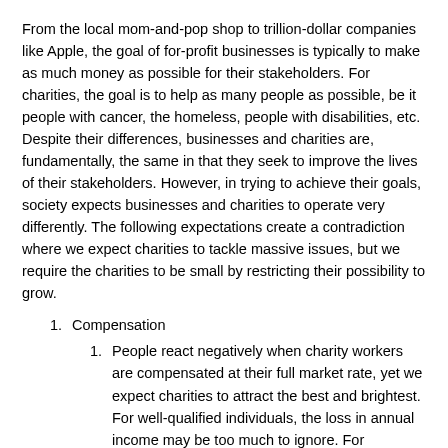From the local mom-and-pop shop to trillion-dollar companies like Apple, the goal of for-profit businesses is typically to make as much money as possible for their stakeholders. For charities, the goal is to help as many people as possible, be it people with cancer, the homeless, people with disabilities, etc. Despite their differences, businesses and charities are, fundamentally, the same in that they seek to improve the lives of their stakeholders. However, in trying to achieve their goals, society expects businesses and charities to operate very differently. The following expectations create a contradiction where we expect charities to tackle massive issues, but we require the charities to be small by restricting their possibility to grow.
Compensation
People react negatively when charity workers are compensated at their full market rate, yet we expect charities to attract the best and brightest. For well-qualified individuals, the loss in annual income may be too much to ignore. For example, a Stanford MBA graduate may make $400,000/year working in the for-profit sector, while a similarly qualified individual may make only $85,000/year – 21% of the for-profit worker's income. As such, a person wanting to make a difference could reasonable choose to work in the private sector and donate $100k per year, still make $300k per year, and been seen as a philanthropist, while the CEO of the